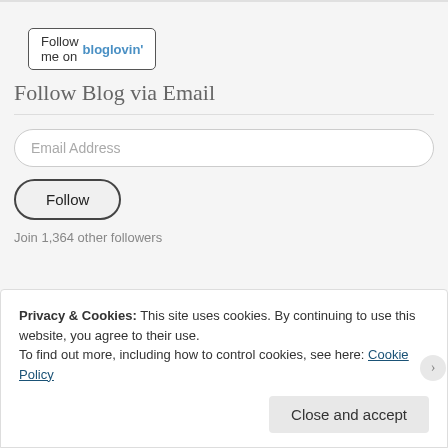[Figure (screenshot): Follow me on bloglovin' button — a bordered rectangular button with black text 'Follow me on' and blue bold text 'bloglovin'']
Follow Blog via Email
Email Address
Follow
Join 1,364 other followers
Instagram: @jenbendewish
Privacy & Cookies: This site uses cookies. By continuing to use this website, you agree to their use.
To find out more, including how to control cookies, see here: Cookie Policy
Close and accept